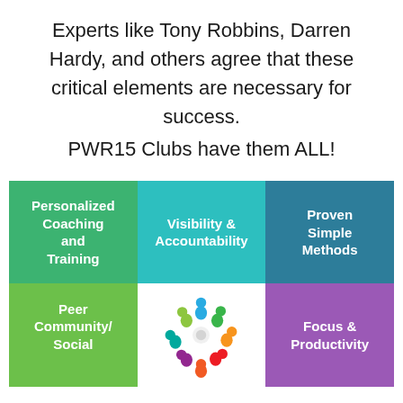Experts like Tony Robbins, Darren Hardy, and others agree that these critical elements are necessary for success.
PWR15 Clubs have them ALL!
[Figure (infographic): 3x2 grid of colored tiles showing PWR15 Club features: Personalized Coaching and Training (green), Visibility & Accountability (teal), Proven Simple Methods (dark teal), Peer Community/Social... (light green), colorful people-circle logo (white), Focus & Productivity (purple)]